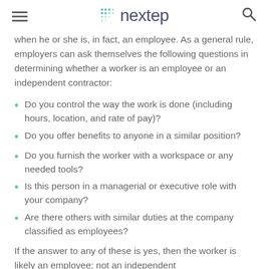nextep
when he or she is, in fact, an employee. As a general rule, employers can ask themselves the following questions in determining whether a worker is an employee or an independent contractor:
Do you control the way the work is done (including hours, location, and rate of pay)?
Do you offer benefits to anyone in a similar position?
Do you furnish the worker with a workspace or any needed tools?
Is this person in a managerial or executive role with your company?
Are there others with similar duties at the company classified as employees?
If the answer to any of these is yes, then the worker is likely an employee; not an independent